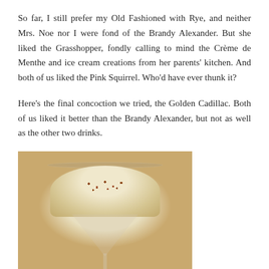So far, I still prefer my Old Fashioned with Rye, and neither Mrs. Noe nor I were fond of the Brandy Alexander. But she liked the Grasshopper, fondly calling to mind the Crème de Menthe and ice cream creations from her parents' kitchen. And both of us liked the Pink Squirrel. Who'd have ever thunk it?
Here's the final concoction we tried, the Golden Cadillac. Both of us liked it better than the Brandy Alexander, but not as well as the other two drinks.
[Figure (photo): A cream-colored cocktail in a coupe glass with reddish-brown spice sprinkled on top, photographed on a granite countertop with warm, vintage-toned lighting.]